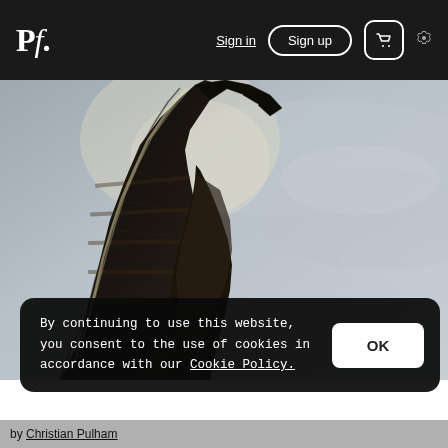Pf. | Sign in | Sign up | [cart] [settings]
[Figure (photo): A bird of prey (osprey) photographed from below against a grey sky, wings spread upward showing detailed feather patterns with dramatic backlit silhouette]
By continuing to use this website, you consent to the use of cookies in accordance with our Cookie Policy.
OK
by Christian Pulham